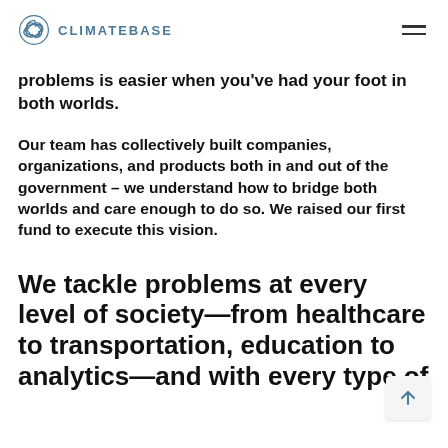CLIMATEBASE
problems is easier when you've had your foot in both worlds.
Our team has collectively built companies, organizations, and products both in and out of the government – we understand how to bridge both worlds and care enough to do so. We raised our first fund to execute this vision.
We tackle problems at every level of society—from healthcare to transportation, education to analytics—and with every type of